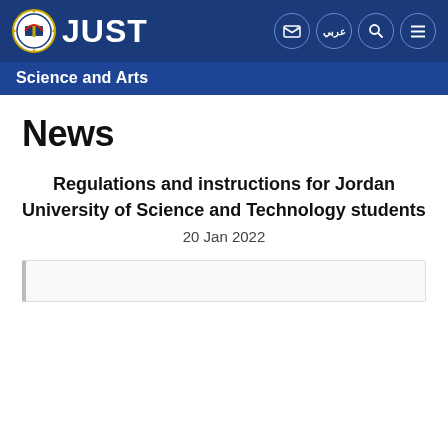JUST — Science and Arts
News
Regulations and instructions for Jordan University of Science and Technology students
20 Jan 2022